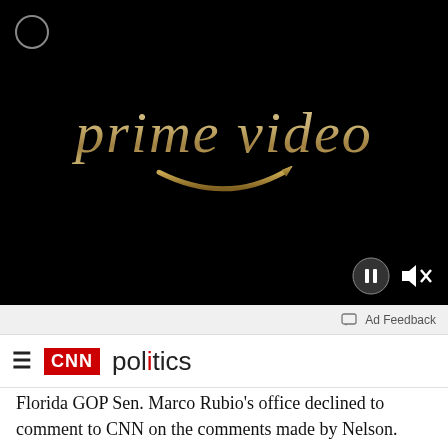[Figure (screenshot): Amazon Prime Video logo on black background with golden/bronze metallic text reading 'prime video' and the Amazon smile arrow beneath it. Video player controls (pause button and muted speaker icon) visible in bottom right.]
Ad Feedback
CNN politics
Florida GOP Sen. Marco Rubio's office declined to comment to CNN on the comments made by Nelson.
The Florida Department of State pushed back on the claims by Nelson that Russian operatives have